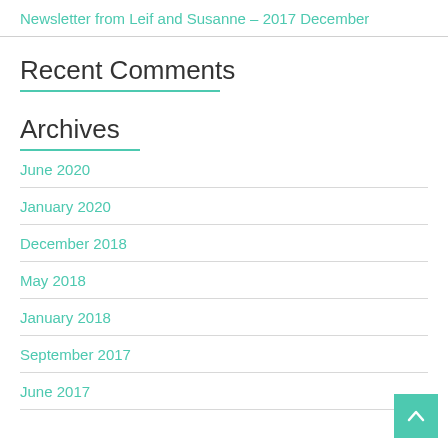Newsletter from Leif and Susanne – 2017 December
Recent Comments
Archives
June 2020
January 2020
December 2018
May 2018
January 2018
September 2017
June 2017